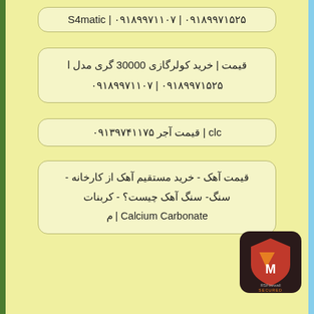S4matic | ۰۹۱۸۹۹۷۱۱۰۷ | ۰۹۱۸۹۹۷۱۵۲۵
قیمت | خرید کولرگازی 30000 گری مدل ا
۰۹۱۸۹۹۷۱۵۲۵ | ۰۹۱۸۹۹۷۱۱۰۷
قیمت آجر ۰۹۱۳۹۷۴۱۱۷۵ | clc
قیمت آهک - خرید مستقیم آهک از کارخانه - سنگ- سنگ آهک چیست؟ - کربنات م | Calcium Carbonate
[Figure (logo): RSFirewall SECURED badge - red and dark shield logo with orange element]